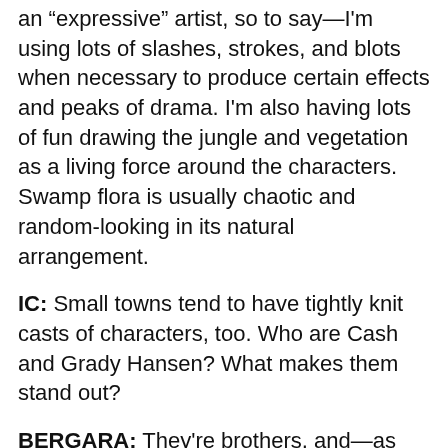an 'expressive' artist, so to say—I'm using lots of slashes, strokes, and blots when necessary to produce certain effects and peaks of drama. I'm also having lots of fun drawing the jungle and vegetation as a living force around the characters. Swamp flora is usually chaotic and random-looking in its natural arrangement.
IC: Small towns tend to have tightly knit casts of characters, too. Who are Cash and Grady Hansen? What makes them stand out?
BERGARA: They're brothers, and—as usually happens between brothers—they have very different and complementary personalities, strengths, and weaknesses! And they share a wonderfully tough dad watching over them.
BUCCELLATO: Cash and Grady are brothers with